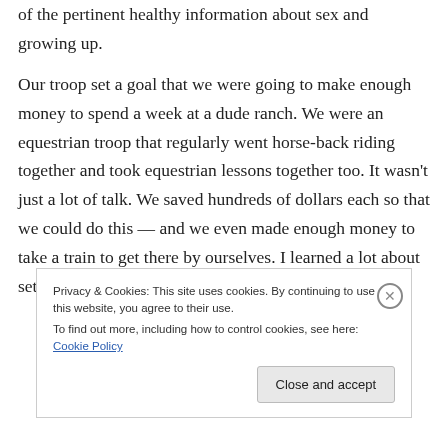of the pertinent healthy information about sex and growing up.

Our troop set a goal that we were going to make enough money to spend a week at a dude ranch. We were an equestrian troop that regularly went horse-back riding together and took equestrian lessons together too. It wasn't just a lot of talk. We saved hundreds of dollars each so that we could do this — and we even made enough money to take a train to get there by ourselves. I learned a lot about setting goals, taking
Privacy & Cookies: This site uses cookies. By continuing to use this website, you agree to their use.
To find out more, including how to control cookies, see here: Cookie Policy